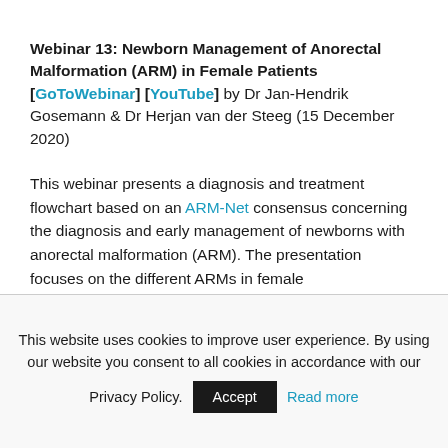Webinar 13: Newborn Management of Anorectal Malformation (ARM) in Female Patients [GoToWebinar] [YouTube] by Dr Jan-Hendrik Gosemann & Dr Herjan van der Steeg (15 December 2020)
This webinar presents a diagnosis and treatment flowchart based on an ARM-Net consensus concerning the diagnosis and early management of newborns with anorectal malformation (ARM). The presentation focuses on the different ARMs in female
This website uses cookies to improve user experience. By using our website you consent to all cookies in accordance with our Privacy Policy. Accept Read more